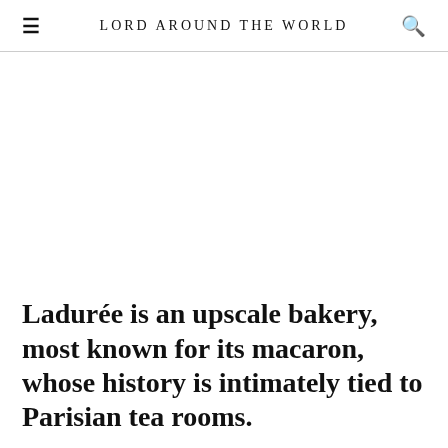LORD AROUND THE WORLD
Ladurée is an upscale bakery, most known for its macaron, whose history is intimately tied to Parisian tea rooms.